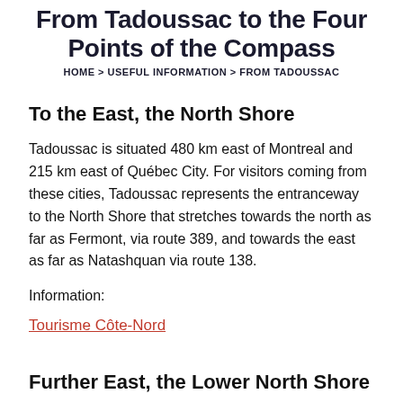From Tadoussac to the Four Points of the Compass
HOME > USEFUL INFORMATION > FROM TADOUSSAC
To the East, the North Shore
Tadoussac is situated 480 km east of Montreal and 215 km east of Québec City. For visitors coming from these cities, Tadoussac represents the entranceway to the North Shore that stretches towards the north as far as Fermont, via route 389, and towards the east as far as Natashquan via route 138.
Information:
Tourisme Côte-Nord
Further East, the Lower North Shore